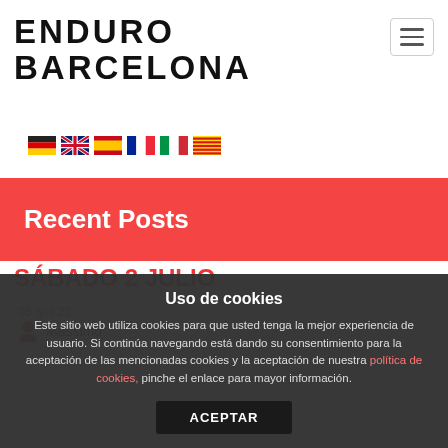[Figure (logo): Enduro Barcelona logo in bold distressed uppercase letters]
[Figure (illustration): Flag icons: German, UK, Spanish, French, Italian, Catalan]
Recent Posts
SÁBADO 2 JULIO
05 giu 22
Massimo
Uso de cookies
Este sitio web utiliza cookies para que usted tenga la mejor experiencia de usuario. Si continúa navegando está dando su consentimiento para la aceptación de las mencionadas cookies y la aceptación de nuestra política de cookies, pinche el enlace para mayor información.
ACEPTAR